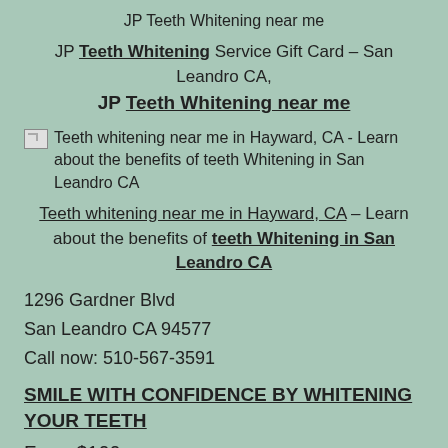JP Teeth Whitening near me
JP Teeth Whitening Service Gift Card – San Leandro CA, JP Teeth Whitening near me
[Figure (photo): Small broken image icon placeholder followed by caption text: Teeth whitening near me in Hayward, CA - Learn about the benefits of teeth Whitening in San Leandro CA]
Teeth whitening near me in Hayward, CA – Learn about the benefits of teeth Whitening in San Leandro CA
1296 Gardner Blvd
San Leandro CA 94577
Call now: 510-567-3591
SMILE WITH CONFIDENCE BY WHITENING YOUR TEETH
From $100 per...